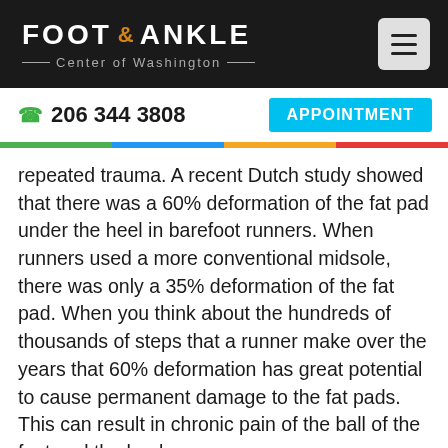FOOT & ANKLE Center of Washington
206 344 3808
APPOINTMENT
repeated trauma. A recent Dutch study showed that there was a 60% deformation of the fat pad under the heel in barefoot runners. When runners used a more conventional midsole, there was only a 35% deformation of the fat pad. When you think about the hundreds of thousands of steps that a runner make over the years that 60% deformation has great potential to cause permanent damage to the fat pads. This can result in chronic pain of the ball of the foot and the heel.
Evidence that the Best Running Shoes Have a Moderate Midsole